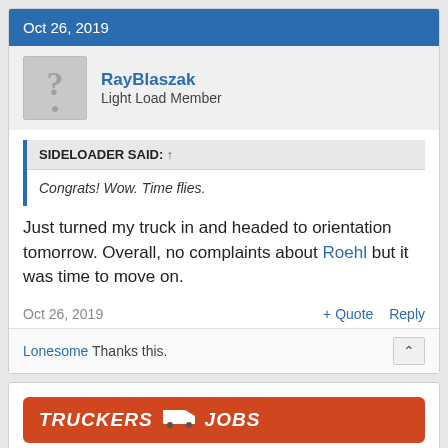Oct 26, 2019
RayBlaszak
Light Load Member
SIDELOADER SAID: ↑
Congrats! Wow. Time flies.
Just turned my truck in and headed to orientation tomorrow. Overall, no complaints about Roehl but it was time to move on.
Oct 26, 2019
+ Quote  Reply
Lonesome Thanks this.
[Figure (other): Truckers Jobs advertisement banner with orange background showing TRUCKERS JOBS text with truck icon]